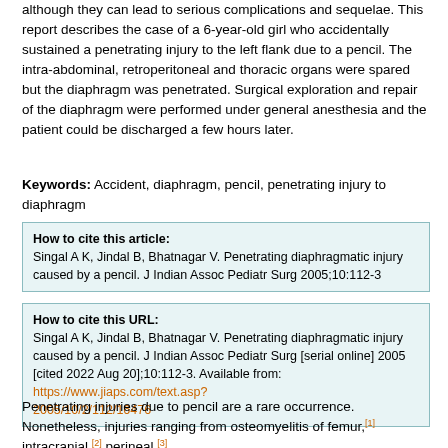although they can lead to serious complications and sequelae. This report describes the case of a 6-year-old girl who accidentally sustained a penetrating injury to the left flank due to a pencil. The intra-abdominal, retroperitoneal and thoracic organs were spared but the diaphragm was penetrated. Surgical exploration and repair of the diaphragm were performed under general anesthesia and the patient could be discharged a few hours later.
Keywords: Accident, diaphragm, pencil, penetrating injury to diaphragm
How to cite this article: Singal A K, Jindal B, Bhatnagar V. Penetrating diaphragmatic injury caused by a pencil. J Indian Assoc Pediatr Surg 2005;10:112-3
How to cite this URL: Singal A K, Jindal B, Bhatnagar V. Penetrating diaphragmatic injury caused by a pencil. J Indian Assoc Pediatr Surg [serial online] 2005 [cited 2022 Aug 20];10:112-3. Available from: https://www.jiaps.com/text.asp?2005/10/2/112/16476
Penetrating injuries due to pencil are a rare occurrence. Nonetheless, injuries ranging from osteomyelitis of femur,[1] intracranial,[2] perineal,[3] ...